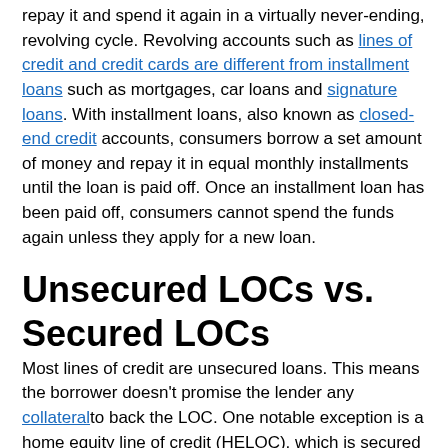repay it and spend it again in a virtually never-ending, revolving cycle. Revolving accounts such as lines of credit and credit cards are different from installment loans such as mortgages, car loans and signature loans. With installment loans, also known as closed-end credit accounts, consumers borrow a set amount of money and repay it in equal monthly installments until the loan is paid off. Once an installment loan has been paid off, consumers cannot spend the funds again unless they apply for a new loan.
Unsecured LOCs vs. Secured LOCs
Most lines of credit are unsecured loans. This means the borrower doesn't promise the lender any collateral to back the LOC. One notable exception is a home equity line of credit (HELOC), which is secured by the equity in the borrower's home. Unsecured lines of credit tend to come with higher interest rates than secured LOCs. They are also more difficult to obtain and often require a higher credit score